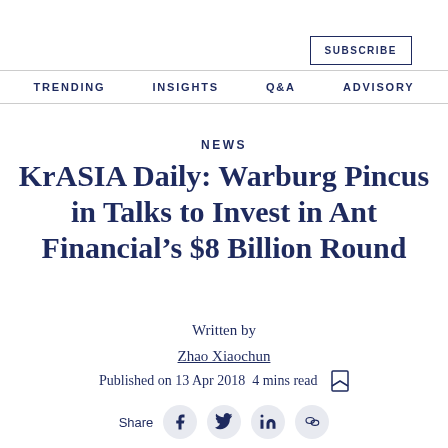SUBSCRIBE
TRENDING   INSIGHTS   Q&A   ADVISORY
NEWS
KrASIA Daily: Warburg Pincus in Talks to Invest in Ant Financial’s $8 Billion Round
Written by
Zhao Xiaochun
Published on 13 Apr 2018  4 mins read
Share